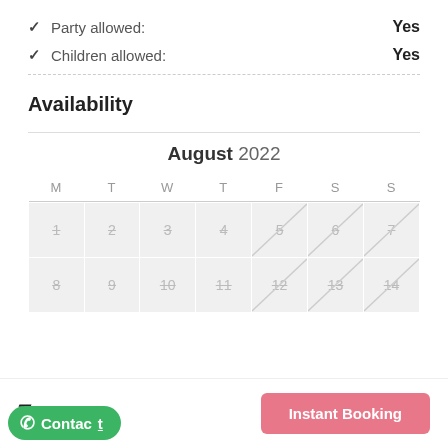✓ Party allowed: Yes
✓ Children allowed: Yes
Availability
[Figure (other): A calendar showing August 2022 with day-of-week headers M T W T F S S and dates 1-14 displayed in grey cells with strikethrough styling indicating unavailable dates. Dates 5, 6, 7 have diagonal lines across the cell.]
₹2,750 /Day
Instant Booking
Contact